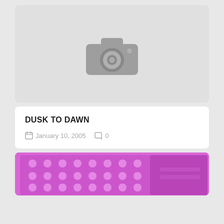[Figure (photo): Placeholder image with a camera icon on a light gray background]
DUSK TO DAWN
January 10, 2005   0
[Figure (photo): Purple/pink plastic medication or laboratory tray with multiple compartments and buttons, partially visible at bottom of page]